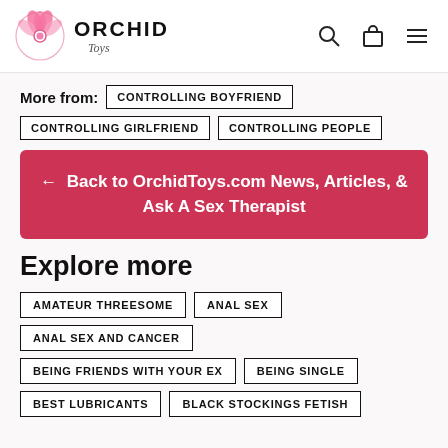ORCHID Toys
More from: CONTROLLING BOYFRIEND CONTROLLING GIRLFRIEND CONTROLLING PEOPLE
← Back to OrchidToys.com News, Articles, & Ask A Sex Therapist
Explore more
AMATEUR THREESOME
ANAL SEX
ANAL SEX AND CANCER
BEING FRIENDS WITH YOUR EX
BEING SINGLE
BEST LUBRICANTS
BLACK STOCKINGS FETISH